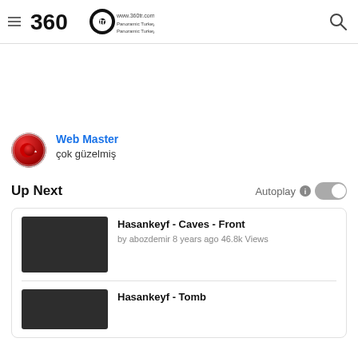360tr www.360tr.com Panoramic Turkey Photos
Web Master
çok güzelmiş
Up Next
Autoplay
Hasankeyf - Caves - Front
by abozdemir 8 years ago 46.8k Views
Hasankeyf - Tomb